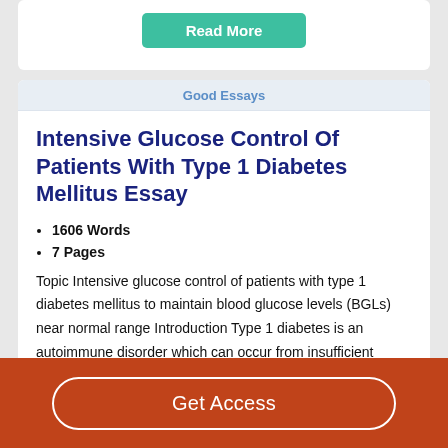[Figure (screenshot): Read More button (teal/green rounded rectangle)]
Good Essays
Intensive Glucose Control Of Patients With Type 1 Diabetes Mellitus Essay
1606 Words
7 Pages
Topic Intensive glucose control of patients with type 1 diabetes mellitus to maintain blood glucose levels (BGLs) near normal range Introduction Type 1 diabetes is an autoimmune disorder which can occur from insufficient insulin secretion. Insulin is a hormone which is secreted by
Get Access